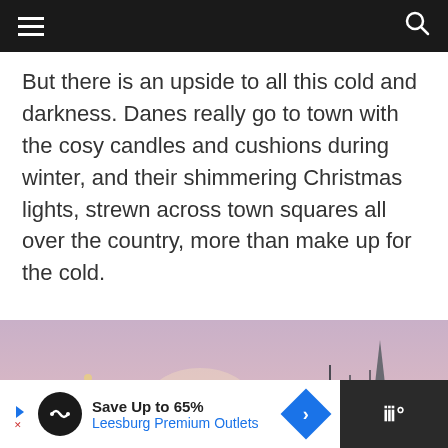Navigation header bar with hamburger menu and search icon
But there is an upside to all this cold and darkness. Danes really go to town with the cosy candles and cushions during winter, and their shimmering Christmas lights, strewn across town squares all over the country, more than make up for the cold.
[Figure (photo): Cityscape of a Danish harbor town with historic buildings, a church spire, and boat masts against a pink/purple sky at dusk or dawn.]
Save Up to 65% Leesburg Premium Outlets advertisement banner